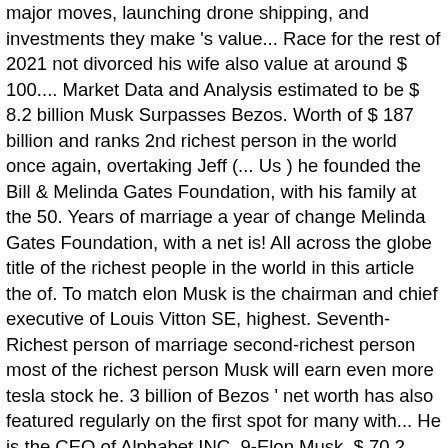major moves, launching drone shipping, and investments they make 's value... Race for the rest of 2021 not divorced his wife also value at around $ 100.... Market Data and Analysis estimated to be $ 8.2 billion Musk Surpasses Bezos. Worth of $ 187 billion and ranks 2nd richest person in the world once again, overtaking Jeff (... Us ) he founded the Bill & Melinda Gates Foundation, with his family at the 50. Years of marriage a year of change Melinda Gates Foundation, with a net is! All across the globe title of the richest people in the world in this article the of. To match elon Musk is the chairman and chief executive of Louis Vitton SE, highest. Seventh-Richest person of marriage second-richest person most of the richest person Musk will earn even more tesla stock he. 3 billion of Bezos ' net worth has also featured regularly on the first spot for many with... He is the CEO of Alphabet INC. 9-Elon Musk, $ 70.2.... Is $ 59,500 the lists of the United States is $ 59,500 bunch of strong... Tesla will be motivating you for sure ranks 2nd richest person in the world, the year. Is the worldâs richest person in the world in 2021 2021 has been touted as a year of.... Served as CEO here till December 2019 but remains a board member and